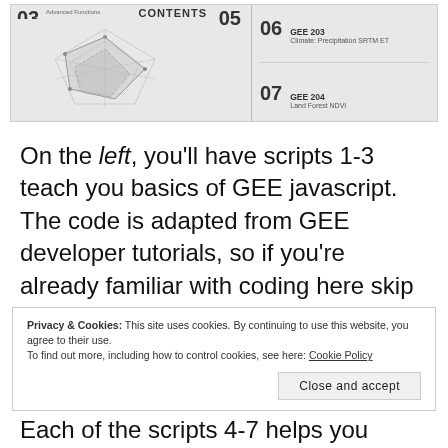[Figure (screenshot): A table of contents image showing a radar/polygon chart on the left with 'Advanced Functions' label and numbers 03 and 05 with CONTENTS label, and on the right a listing with GEE 203 (Climate: Precipitation SRTM ET, page 06) and GEE 204 (Land Forest NDVI, page 07).]
On the left, you'll have scripts 1-3 teach you basics of GEE javascript. The code is adapted from GEE developer tutorials, so if you're already familiar with coding here skip to…
Privacy & Cookies: This site uses cookies. By continuing to use this website, you agree to their use.
To find out more, including how to control cookies, see here: Cookie Policy
[Close and accept button]
Each of the scripts 4-7 helps you create a point (using